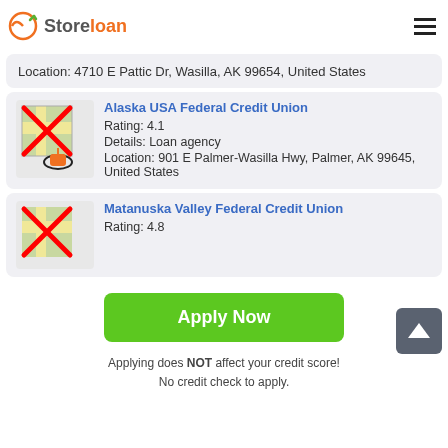Store loan
Location: 4710 E Pattic Dr, Wasilla, AK 99654, United States
Alaska USA Federal Credit Union
Rating: 4.1
Details: Loan agency
Location: 901 E Palmer-Wasilla Hwy, Palmer, AK 99645, United States
Matanuska Valley Federal Credit Union
Rating: 4.8
Apply Now
Applying does NOT affect your credit score!
No credit check to apply.